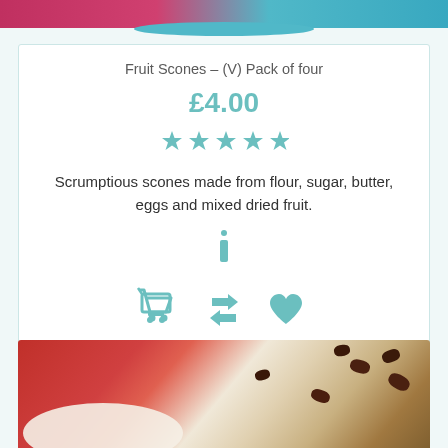[Figure (photo): Top portion of a food product photo showing scones on a teal/blue plate with pink background]
Fruit Scones – (V) Pack of four
£4.00
[Figure (other): Five teal/blue star rating icons]
Scrumptious scones made from flour, sugar, butter, eggs and mixed dried fruit.
[Figure (other): Teal information (i) icon]
[Figure (other): Three teal action icons: shopping cart, retweet/share, and heart/favourite]
[Figure (photo): Bottom portion showing dried fruit/raisins on a red and white background, blurred food photography]